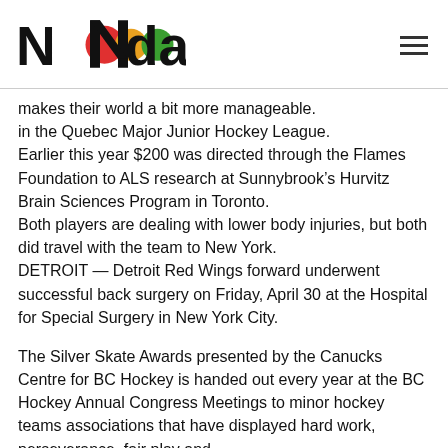Nada
makes their world a bit more manageable.
in the Quebec Major Junior Hockey League.
Earlier this year $200 was directed through the Flames Foundation to ALS research at Sunnybrook’s Hurvitz Brain Sciences Program in Toronto.
Both players are dealing with lower body injuries, but both did travel with the team to New York.
DETROIT — Detroit Red Wings forward underwent successful back surgery on Friday, April 30 at the Hospital for Special Surgery in New York City.
The Silver Skate Awards presented by the Canucks Centre for BC Hockey is handed out every year at the BC Hockey Annual Congress Meetings to minor hockey teams associations that have displayed hard work, perseverance, fair play and